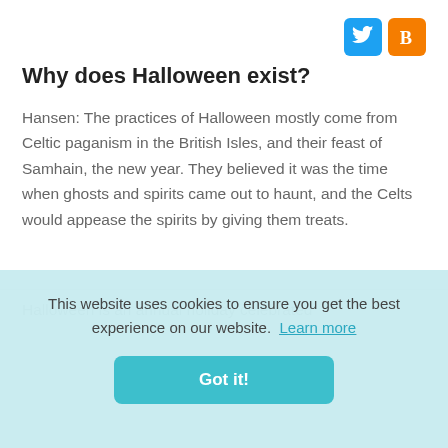[Figure (logo): Twitter and Blogger social media icons in top right corner]
Why does Halloween exist?
Hansen: The practices of Halloween mostly come from Celtic paganism in the British Isles, and their feast of Samhain, the new year. They believed it was the time when ghosts and spirits came out to haunt, and the Celts would appease the spirits by giving them treats.
This website uses cookies to ensure you get the best experience on our website. Learn more
Got it!
Halloween is an annual holiday celebrated